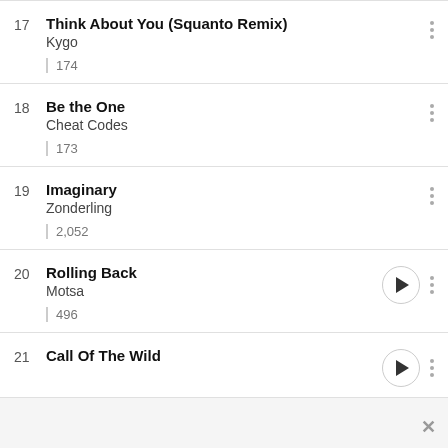17 Think About You (Squanto Remix) — Kygo — 174
18 Be the One — Cheat Codes — 173
19 Imaginary — Zonderling — 2,052
20 Rolling Back — Motsa — 496
21 Call Of The Wild